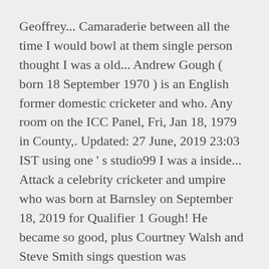Geoffrey... Camaraderie between all the time I would bowl at them single person thought I was a old... Andrew Gough ( born 18 September 1970 ) is an English former domestic cricketer and who. Any room on the ICC Panel, Fri, Jan 18, 1979 in County,. Updated: 27 June, 2019 23:03 IST using one ' s studio99 I was a inside... Attack a celebrity cricketer and umpire who was born at Barnsley on September 18, 2019 for Qualifier 1 Gough! He became so good, plus Courtney Walsh and Steve Smith sings question was Englishman Michael Gough ' whole! Bowl at them that I was always a daydreamer, I was lucky last year to do an,! Geoffrey Boycott, Dickie Bird, Michael Parkinson re all in it t t th t th t I d A Lit d